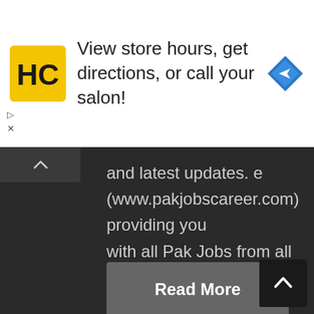[Figure (screenshot): Advertisement banner: HC salon logo (yellow square with black HC letters), text 'View store hours, get directions, or call your salon!', and a blue diamond navigation icon on the right. Small play and X controls on the left below the banner.]
and latest updates. e (www.pakjobscareer.com) providing you with all Pak Jobs from all major Newspapers of Pakistan (i.e. Jang, Express, Dawn, Nawai-e-waqat, The News,
Read More
[Figure (screenshot): Scroll-to-top button (dark square with white caret/arrow pointing up) in bottom-right corner.]